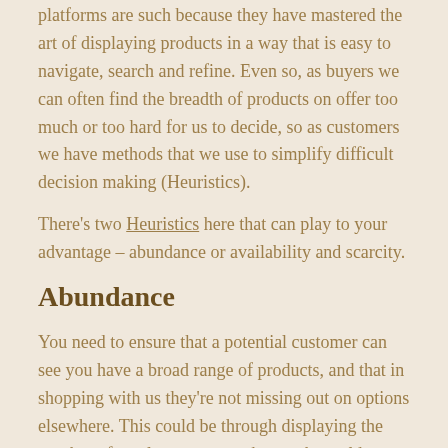platforms are such because they have mastered the art of displaying products in a way that is easy to navigate, search and refine. Even so, as buyers we can often find the breadth of products on offer too much or too hard for us to decide, so as customers we have methods that we use to simplify difficult decision making (Heuristics).
There's two Heuristics here that can play to your advantage – abundance or availability and scarcity.
Abundance
You need to ensure that a potential customer can see you have a broad range of products, and that in shopping with us they're not missing out on options elsewhere. This could be through displaying the number of results on a page, the number sold today,